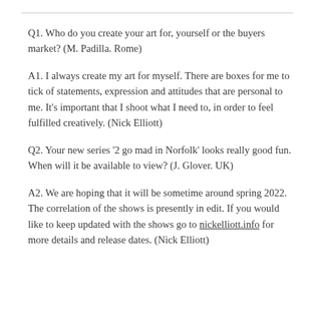Q1. Who do you create your art for, yourself or the buyers market? (M. Padilla. Rome)
A1. I always create my art for myself. There are boxes for me to tick of statements, expression and attitudes that are personal to me. It's important that I shoot what I need to, in order to feel fulfilled creatively. (Nick Elliott)
Q2. Your new series '2 go mad in Norfolk' looks really good fun. When will it be available to view? (J. Glover. UK)
A2. We are hoping that it will be sometime around spring 2022. The correlation of the shows is presently in edit. If you would like to keep updated with the shows go to nickelliott.info for more details and release dates. (Nick Elliott)